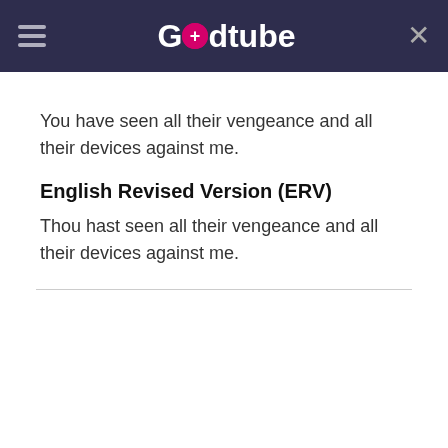Godtube
You have seen all their vengeance and all their devices against me.
English Revised Version (ERV)
Thou hast seen all their vengeance and all their devices against me.